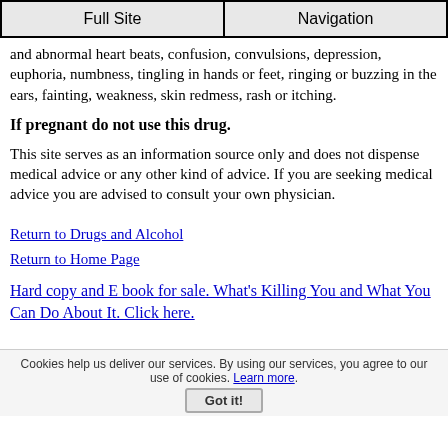Full Site | Navigation
and abnormal heart beats, confusion, convulsions, depression, euphoria, numbness, tingling in hands or feet, ringing or buzzing in the ears, fainting, weakness, skin redmess, rash or itching.
If pregnant do not use this drug.
This site serves as an information source only and does not dispense medical advice or any other kind of advice. If you are seeking medical advice you are advised to consult your own physician.
Return to Drugs and Alcohol
Return to Home Page
Hard copy and E book for sale. What's Killing You and What You Can Do About It. Click here.
Cookies help us deliver our services. By using our services, you agree to our use of cookies. Learn more. Got it!